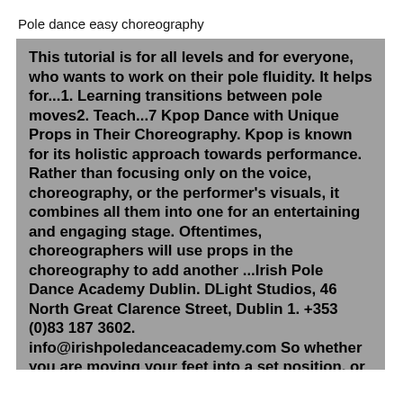Pole dance easy choreography
This tutorial is for all levels and for everyone, who wants to work on their pole fluidity. It helps for...1. Learning transitions between pole moves2. Teach...7 Kpop Dance with Unique Props in Their Choreography. Kpop is known for its holistic approach towards performance. Rather than focusing only on the voice, choreography, or the performer's visuals, it combines all them into one for an entertaining and engaging stage. Oftentimes, choreographers will use props in the choreography to add another ...Irish Pole Dance Academy Dublin. DLight Studios, 46 North Great Clarence Street, Dublin 1. +353 (0)83 187 3602. info@irishpoledanceacademy.com So whether you are moving your feet into a set position, or you need to get to a certain part of the stage or pole, you need to choreograph it with purpose. Think of ways that you